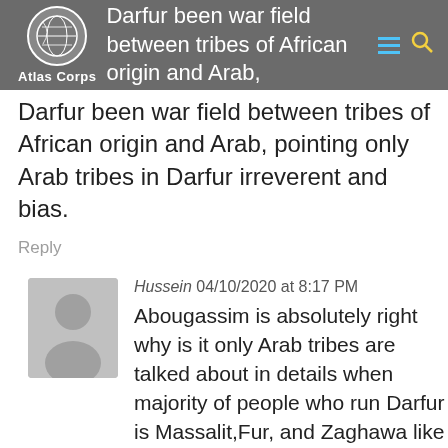Atlas Corps — Darfur been war field between tribes of African origin and Arab, pointing only Arab tribes in Darfur irreverent and bias.
Darfur been war field between tribes of African origin and Arab, pointing only Arab tribes in Darfur irreverent and bias.
Reply
Hussein 04/10/2020 at 8:17 PM
Abougassim is absolutely right why is it only Arab tribes are talked about in details when majority of people who run Darfur is Massalit,Fur, and Zaghawa like this is not fair. And it very bias.